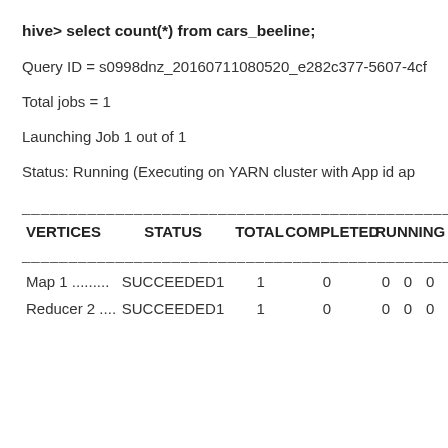hive> select count(*) from cars_beeline;
Query ID = s0998dnz_20160711080520_e282c377-5607-4cf
Total jobs = 1
Launching Job 1 out of 1
Status: Running (Executing on YARN cluster with App id ap
| VERTICES | STATUS | TOTAL | COMPLETED | RUNNING |  |
| --- | --- | --- | --- | --- | --- |
| Map 1 ......... | SUCCEEDED | 1 | 1 | 0 | 0 | 0 | 0 |
| Reducer 2 .... | SUCCEEDED | 1 | 1 | 0 | 0 | 0 | 0 |